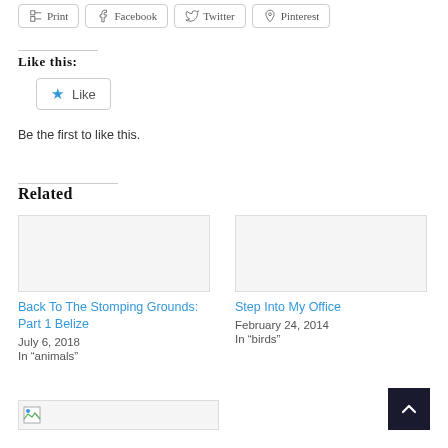[Figure (other): Share buttons row: Print, Facebook, Twitter, Pinterest]
Like this:
[Figure (other): Like button with blue star icon]
Be the first to like this.
Related
Back To The Stomping Grounds: Part 1 Belize
July 6, 2018
In “animals”
Step Into My Office
February 24, 2014
In “birds”
[Figure (other): Broken image placeholder at bottom left]